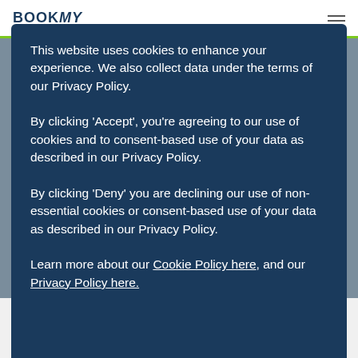BOOKMV
This website uses cookies to enhance your experience. We also collect data under the terms of our Privacy Policy.

By clicking 'Accept', you're agreeing to our use of cookies and to consent-based use of your data as described in our Privacy Policy.

By clicking 'Deny' you are declining our use of non-essential cookies or consent-based use of your data as described in our Privacy Policy.

Learn more about our Cookie Policy here, and our Privacy Policy here.
changing because its level seems to stay the same. However, draining and flushing the coolant system, including the